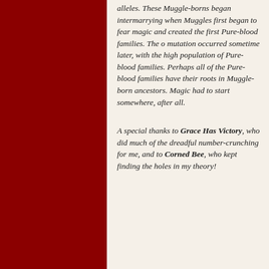alleles. These Muggle-borns began intermarrying when Muggles first began to fear magic and created the first Pure-blood families. The o mutation occurred sometime later, with the high population of Pure-blood families. Perhaps all of the Pure-blood families have their roots in Muggle-born ancestors. Magic had to start somewhere, after all.
A special thanks to Grace Has Victory, who did much of the dreadful number-crunching for me, and to Corned Bee, who kept finding the holes in my theory!